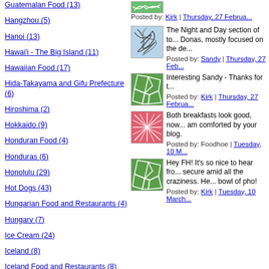Guatemalan Food (13)
Hangzhou (5)
Hanoi (13)
Hawai'i - The Big Island (11)
Hawaiian Food (17)
Hida-Takayama and Gifu Prefecture (6)
Hiroshima (2)
Hokkaido (9)
Honduran Food (4)
Honduras (6)
Honolulu (29)
Hot Dogs (43)
Hungarian Food and Restaurants (4)
Hungary (7)
Ice Cream (24)
Iceland (8)
Iceland Food and Restaurants (8)
Indian Restaurants (15)
[Figure (illustration): Green squiggly lines on white background thumbnail]
Posted by: Kirk | Thursday, 27 Februa...
[Figure (illustration): Blue tangled lines on light blue background thumbnail]
The Night and Day section of to... Donas, mostly focused on the de...
Posted by: Sandy | Thursday, 27 Feb...
[Figure (illustration): Green cell/mosaic pattern on green background thumbnail]
Interesting Sandy - Thanks for t...
Posted by: Kirk | Thursday, 27 Februa...
[Figure (illustration): Pink/red radiating lines on pink background thumbnail]
Both breakfasts look good, now... am comforted by your blog.
Posted by: Foodhoe | Tuesday, 10 M...
[Figure (illustration): Green cell/mosaic pattern on green background thumbnail]
Hey FH! It's so nice to hear fro... secure amid all the craziness. He... bowl of pho!
Posted by: Kirk | Tuesday, 10 March...